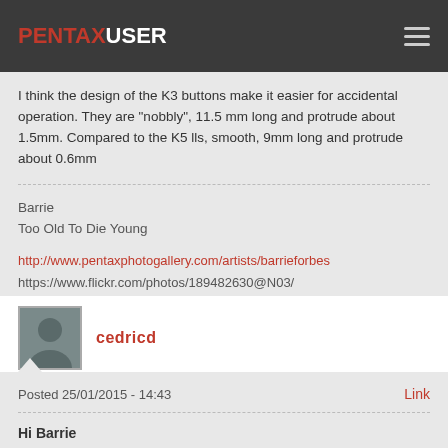PENTAXUSER
I think the design of the K3 buttons make it easier for accidental operation. They are "nobbly", 11.5 mm long and protrude about 1.5mm. Compared to the K5 lls, smooth, 9mm long and protrude about 0.6mm
Barrie
Too Old To Die Young
http://www.pentaxphotogallery.com/artists/barrieforbes
https://www.flickr.com/photos/189482630@N03/
cedricd
Posted 25/01/2015 - 14:43   Link
Hi Barrie